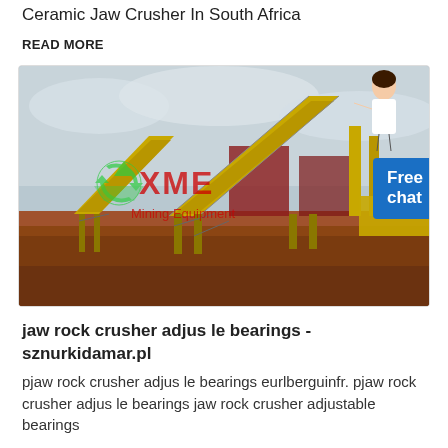Ceramic Jaw Crusher In South Africa
READ MORE
[Figure (photo): A large stone crushing plant with yellow conveyor belt systems and heavy machinery on a red dirt ground, with XME Mining Equipment watermark overlay and a woman pointing with a 'Free chat' button.]
jaw rock crusher adjus le bearings - sznurkidamar.pl
pjaw rock crusher adjus le bearings eurlberguinfr. pjaw rock crusher adjus le bearings jaw rock crusher adjustable bearings